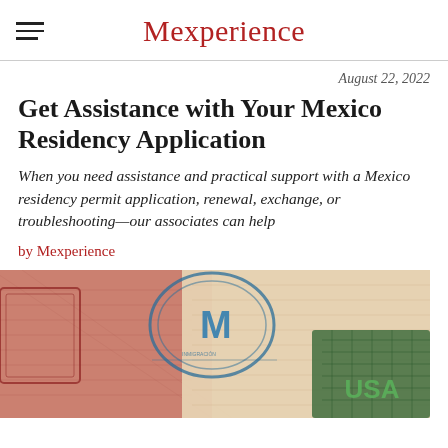Mexperience
August 22, 2022
Get Assistance with Your Mexico Residency Application
When you need assistance and practical support with a Mexico residency permit application, renewal, exchange, or troubleshooting—our associates can help
by Mexperience
[Figure (photo): Close-up photograph of passport pages showing visa stamps and stamps including a blue ink stamp with letter M visible, and a USA stamp in green, overlapping document pages in red and beige tones]